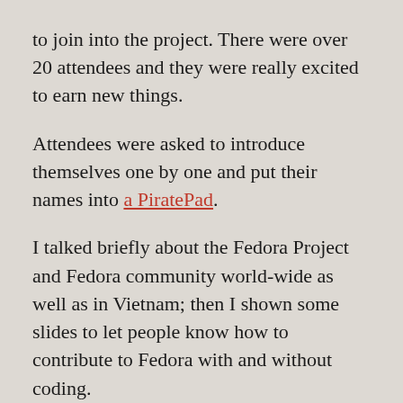to join into the project. There were over 20 attendees and they were really excited to earn new things.
Attendees were asked to introduce themselves one by one and put their names into a PiratePad.
I talked briefly about the Fedora Project and Fedora community world-wide as well as in Vietnam; then I shown some slides to let people know how to contribute to Fedora with and without coding.
During the workshop, I answered a lot of questions about Fedora and Linux/FOSS in general.
At the mostly end of the workshop, helped people to